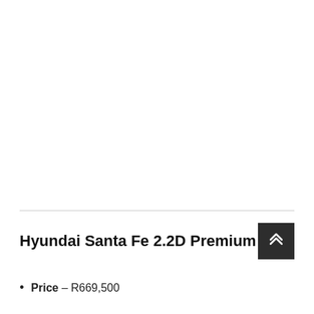[Figure (photo): Large white/blank area at the top of the page, representing a vehicle image placeholder or whitespace.]
Hyundai Santa Fe 2.2D Premium
Price – R669,500